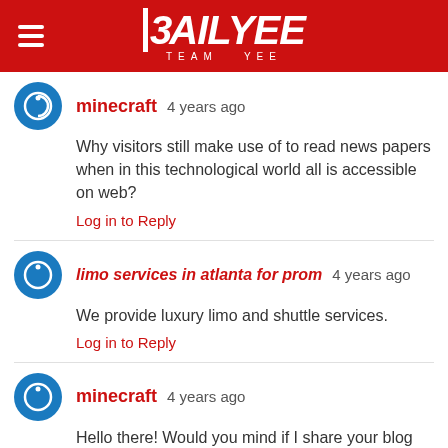DAILYEE TEAM YEE
minecraft 4 years ago
Why visitors still make use of to read news papers when in this technological world all is accessible on web?
Log in to Reply
limo services in atlanta for prom 4 years ago
We provide luxury limo and shuttle services.
Log in to Reply
minecraft 4 years ago
Hello there! Would you mind if I share your blog with my myspace group?
There's a lot of people that I think would really